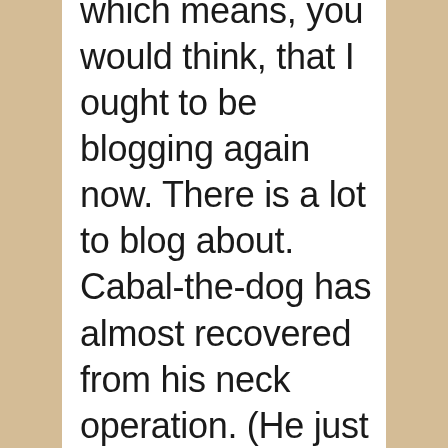which means, you would think, that I ought to be blogging again now. There is a lot to blog about. Cabal-the-dog has almost recovered from his neck operation. (He just had the stitches out. I told people who asked about the five-inch long stitched up